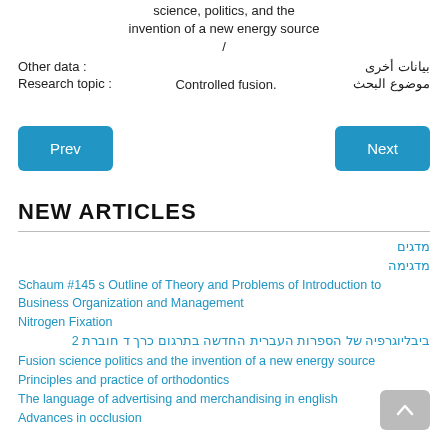science, politics, and the invention of a new energy source /
Other data : invention of a new energy source / بيانات أخرى
Research topic : Controlled fusion. موضوع البحث
Prev
Next
NEW ARTICLES
מדגים
מדגימה
Schaum #145 s Outline of Theory and Problems of Introduction to Business Organization and Management
Nitrogen Fixation
ביבליוגרפיה של הספרות העברית החדשה בתרגום כרך ד חוברת 2
Fusion science politics and the invention of a new energy source
Principles and practice of orthodontics
The language of advertising and merchandising in english
Advances in occlusion